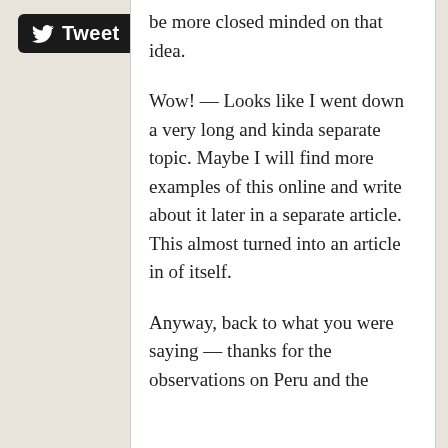[Figure (other): Twitter Tweet button with bird logo on black rounded rectangle background]
be more closed minded on that idea.
Wow! — Looks like I went down a very long and kinda separate topic. Maybe I will find more examples of this online and write about it later in a separate article. This almost turned into an article in of itself.
Anyway, back to what you were saying — thanks for the observations on Peru and the